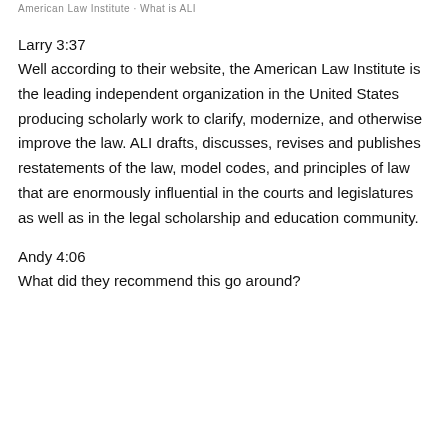American Law Institute · What is ALI
Larry 3:37
Well according to their website, the American Law Institute is the leading independent organization in the United States producing scholarly work to clarify, modernize, and otherwise improve the law. ALI drafts, discusses, revises and publishes restatements of the law, model codes, and principles of law that are enormously influential in the courts and legislatures as well as in the legal scholarship and education community.
Andy 4:06
What did they recommend this go around?